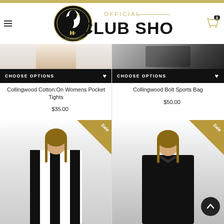[Figure (logo): Collingwood Official Club Shop logo with magpie emblem and gold text]
[Figure (photo): CHOOSE OPTIONS bar with heart icon for first product (top left)]
[Figure (photo): CHOOSE OPTIONS bar with heart icon for second product (top right)]
Collingwood Cotton:On Womens Pocket Tights
$35.00
Collingwood Bolt Sports Bag
$50.00
[Figure (photo): Female model wearing Collingwood AFL guernsey (black and white stripes), Sale badge in top right corner]
[Figure (photo): Female model wearing black Collingwood polo shirt, Sale badge in top right corner]